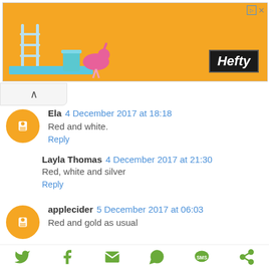[Figure (other): Orange Hefty advertisement banner with pool/summer imagery and flamingo, Hefty logo in bottom right]
Ela  4 December 2017 at 18:18
Red and white.
Reply
Layla Thomas  4 December 2017 at 21:30
Red, white and silver
Reply
applecider  5 December 2017 at 06:03
Red and gold as usual
[Figure (other): Social sharing icons: Twitter, Facebook, Email, WhatsApp, SMS, share]